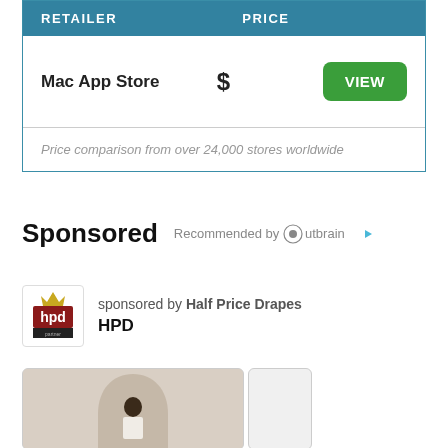| RETAILER | PRICE |
| --- | --- |
| Mac App Store | $ | VIEW |
Sponsored
Recommended by Outbrain
sponsored by Half Price Drapes
HPD
[Figure (photo): Advertisement image showing a person in a neutral-toned room with an arched wall element]